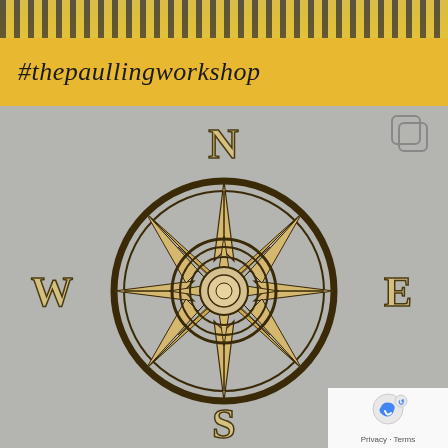[Figure (photo): Top strip showing a partial photo of a workshop or store with a checkered/striped yellow and black pattern overlay]
#thepaullingworkshop
[Figure (photo): Photograph of a laser-cut wooden compass rose decoration on a grey background, with cardinal direction letters W, N, E, S placed around it. A copy/album icon is visible in the top right corner, and a reCAPTCHA Privacy-Terms badge is in the bottom right corner.]